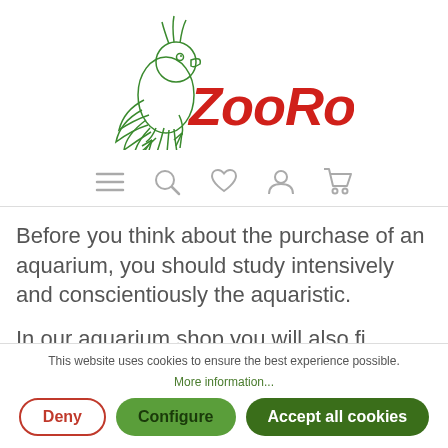[Figure (logo): ZooRoco logo with green parrot illustration and red cursive text 'ZooRoco']
[Figure (infographic): Navigation icons: hamburger menu, search, heart/wishlist, user account, shopping cart — all in light gray outline style]
Before you think about the purchase of an aquarium, you should study intensively and conscientiously the aquaristic.
In our aquarium shop you will also fi... interesting aquaristic books which lead you
This website uses cookies to ensure the best experience possible.
More information...
Deny
Configure
Accept all cookies